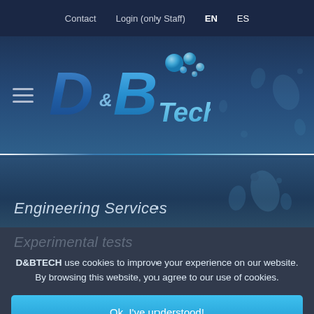Contact   Login (only Staff)   EN  ES
[Figure (logo): D&B Tech company logo with stylized blue letters and bubble graphics]
Engineering Services
Experimental tests
D&BTECH use cookies to improve your experience on our website. By browsing this website, you agree to our use of cookies.
Ok, I've understood!
Decline
Settings
+ Info